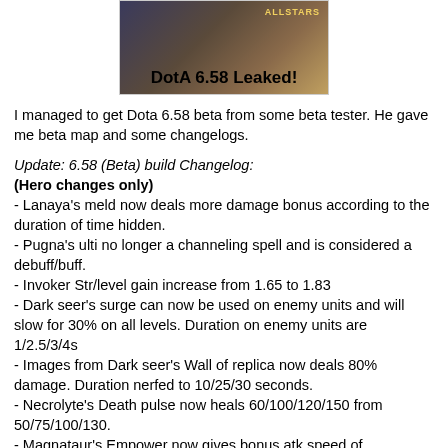[Figure (screenshot): Screenshot of a game image with text 'DotA 6.58 Leaked!' and 'ALLSTARS' visible]
I managed to get Dota 6.58 beta from some beta tester. He gave me beta map and some changelogs.
Update: 6.58 (Beta) build Changelog:
(Hero changes only)
- Lanaya's meld now deals more damage bonus according to the duration of time hidden.
- Pugna's ulti no longer a channeling spell and is considered a debuff/buff.
- Invoker Str/level gain increase from 1.65 to 1.83
- Dark seer's surge can now be used on enemy units and will slow for 30% on all levels. Duration on enemy units are 1/2.5/3/4s
- Images from Dark seer's Wall of replica now deals 80% damage. Duration nerfed to 10/25/30 seconds.
- Necrolyte's Death pulse now heals 60/100/120/150 from 50/75/100/130.
- Magnataur's Empower now gives bonus atk speed of